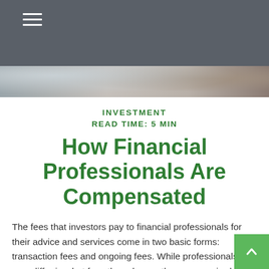[Figure (other): Dark gray header bar with hamburger menu icon (three white horizontal lines) in top left]
[Figure (photo): A cropped photo strip showing blurred people in the background, partial view of faces and clothing]
INVESTMENT
READ TIME: 5 MIN
How Financial Professionals Are Compensated
The fees that investors pay to financial professionals for their advice and services come in two basic forms: transaction fees and ongoing fees. While professionals may differ in what fees they charge, they are required to fully disclose them.